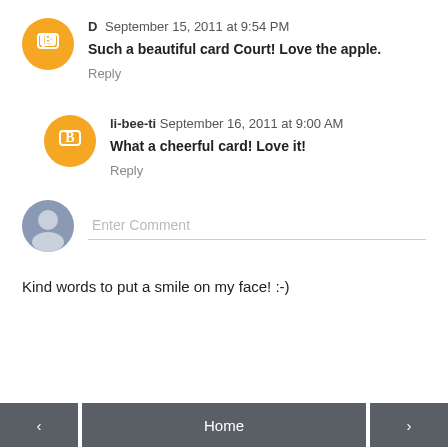D  September 15, 2011 at 9:54 PM
Such a beautiful card Court! Love the apple.
Reply
li-bee-ti  September 16, 2011 at 9:00 AM
What a cheerful card! Love it!
Reply
Enter Comment
Kind words to put a smile on my face! :-)
< | Home | >